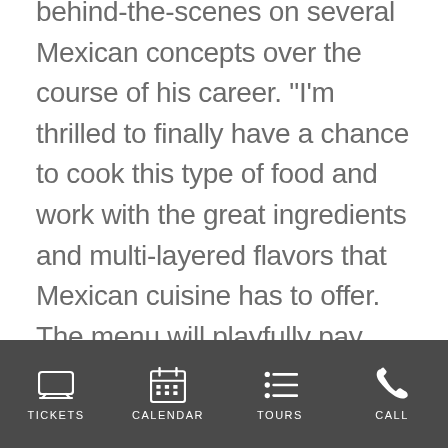behind-the-scenes on several Mexican concepts over the course of his career. “I’m thrilled to finally have a chance to cook this type of food and work with the great ingredients and multi-layered flavors that Mexican cuisine has to offer. The menu will playfully pay homage to authentic Mexican cuisine and have something for everyone.”

Cinco Cantina & Tequila Bar, located at 4251 Salzedo Street, Suite 1325 in Coral
TICKETS  CALENDAR  TOURS  CALL